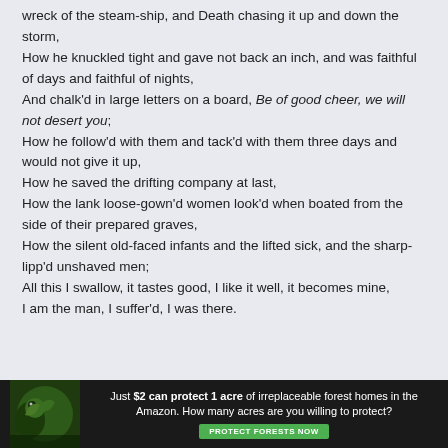wreck of the steam-ship, and Death chasing it up and down the storm, How he knuckled tight and gave not back an inch, and was faithful of days and faithful of nights, And chalk'd in large letters on a board, Be of good cheer, we will not desert you; How he follow'd with them and tack'd with them three days and would not give it up, How he saved the drifting company at last, How the lank loose-gown'd women look'd when boated from the side of their prepared graves, How the silent old-faced infants and the lifted sick, and the sharp-lipp'd unshaved men; All this I swallow, it tastes good, I like it well, it becomes mine, I am the man, I suffer'd, I was there.
[Figure (infographic): Advertisement banner with dark forest background and a bird/animal image on the left. Text reads: 'Just $2 can protect 1 acre of irreplaceable forest homes in the Amazon. How many acres are you willing to protect?' with a green 'PROTECT FORESTS NOW' button.]